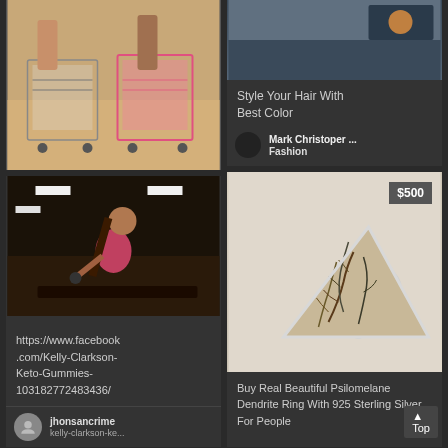[Figure (photo): Two women in swimwear pushing shopping carts on a beach or outdoor area]
[Figure (photo): Top portion of a social post with dark background and hair color image]
Style Your Hair With Best Color
Mark Christoper ...
Fashion
[Figure (photo): Woman in pink gym outfit exercising with dumbbells in a gym]
https://www.facebook.com/Kelly-Clarkson-Keto-Gummies-103182772483436/
jhonsancrime
kelly-clarkson-ke...
[Figure (photo): Triangular Psilomelane Dendrite Ring with 925 sterling silver setting, price $500]
$500
Buy Real Beautiful Psilomelane Dendrite Ring With 925 Sterling Silver For People